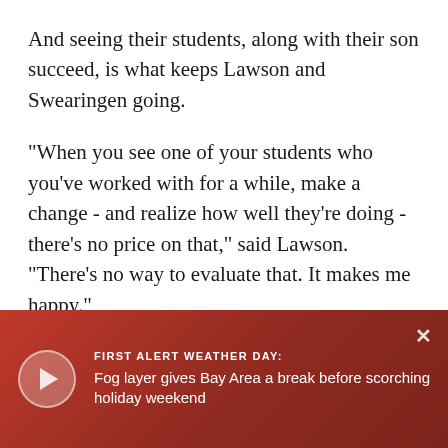And seeing their students, along with their son succeed, is what keeps Lawson and Swearingen going.
"When you see one of your students who you've worked with for a while, make a change - and realize how well they're doing - there's no price on that," said Lawson. "There's no way to evaluate that. It makes me happy."
[Figure (screenshot): News video banner with red gradient background showing 'FIRST ALERT WEATHER DAY:' label and headline 'Fog layer gives Bay Area a break before scorching holiday weekend' with a play button circle on the left and an X close button on the top right.]